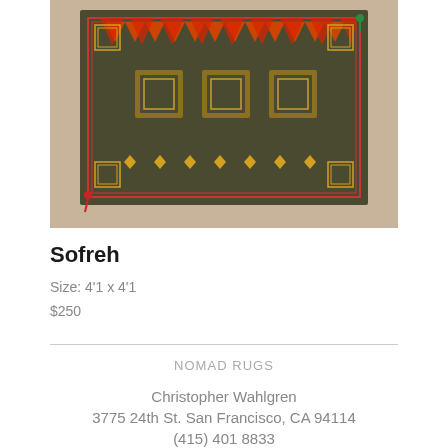[Figure (photo): A decorative Persian/Middle Eastern Sofreh rug with geometric patterns in dark olive green, red/orange flame motifs along the top border, gold and brown medallions, and small tassels in red and green at the corners. The rug is photographed flat against a beige/tan surface.]
Sofreh
Size: 4'1 x 4'1
$250
NOMAD RUGS
Christopher Wahlgren
3775 24th St. San Francisco, CA 94114
(415) 401 8833